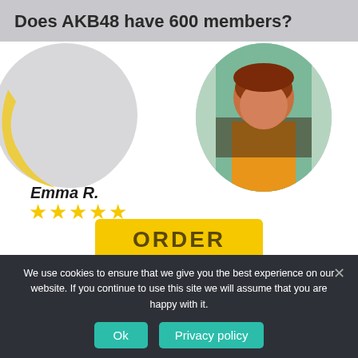Does AKB48 have 600 members?
[Figure (illustration): Two overlapping circular avatar placeholders on the left (grey circle with yellow arc) and a photo of a woman with red hair wearing an orange top on the right, set against a grey rounded circle background.]
Emma R.
★★★★★
ORDER
Professional Homework Help
We use cookies to ensure that we give you the best experience on our website. If you continue to use this site we will assume that you are happy with it.
Ok
Privacy policy